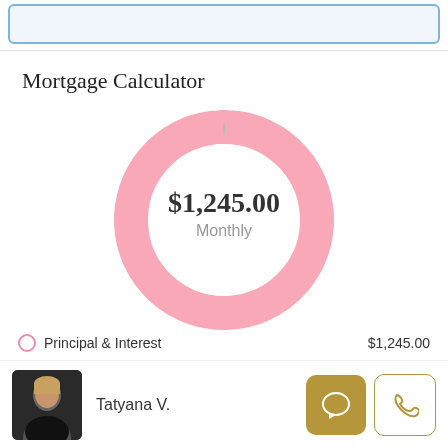[Figure (screenshot): Top blue-bordered input bar (partially cropped)]
Mortgage Calculator
[Figure (donut-chart): Mortgage Calculator]
Principal & Interest  $1,245.00
Tatyana V.